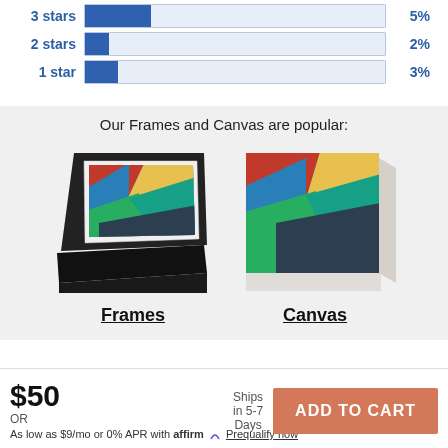[Figure (bar-chart): Star ratings]
Our Frames and Canvas are popular:
[Figure (photo): Framed art print showing colorful abstract painting in black frame]
[Figure (photo): Canvas art print showing colorful abstract painting on wrapped canvas]
Frames
Canvas
$50
Ships in 5-7 Days
OR
As low as $9/mo or 0% APR with affirm Prequalify now